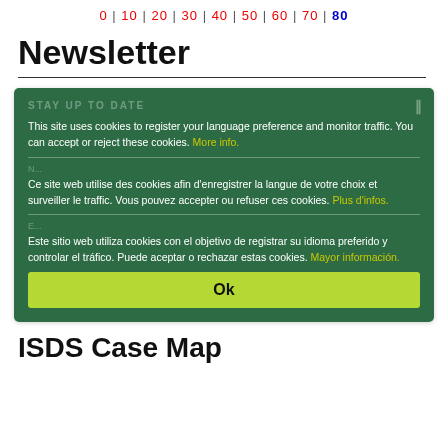0 | 10 | 20 | 30 | 40 | 50 | 60 | 70 | 80
Newsletter
[Figure (screenshot): Cookie consent overlay on a dark green background with three language notices (English, French, Spanish) and an Ok button]
ISDS Case Map